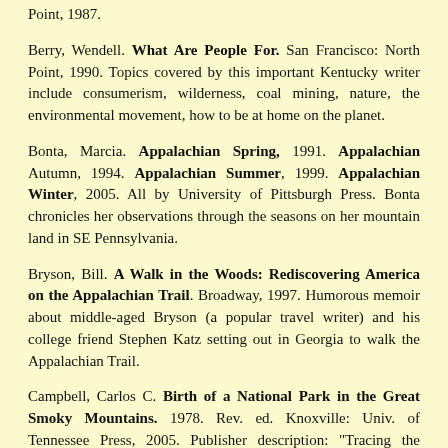Point, 1987.
Berry, Wendell. What Are People For. San Francisco: North Point, 1990. Topics covered by this important Kentucky writer include consumerism, wilderness, coal mining, nature, the environmental movement, how to be at home on the planet.
Bonta, Marcia. Appalachian Spring, 1991. Appalachian Autumn, 1994. Appalachian Summer, 1999. Appalachian Winter, 2005. All by University of Pittsburgh Press. Bonta chronicles her observations through the seasons on her mountain land in SE Pennsylvania.
Bryson, Bill. A Walk in the Woods: Rediscovering America on the Appalachian Trail. Broadway, 1997. Humorous memoir about middle-aged Bryson (a popular travel writer) and his college friend Stephen Katz setting out in Georgia to walk the Appalachian Trail.
Campbell, Carlos C. Birth of a National Park in the Great Smoky Mountains. 1978. Rev. ed. Knoxville: Univ. of Tennessee Press, 2005. Publisher description: "Tracing the events that led to the establishment of the Great Smoky Mountains National Park, Campbell shows